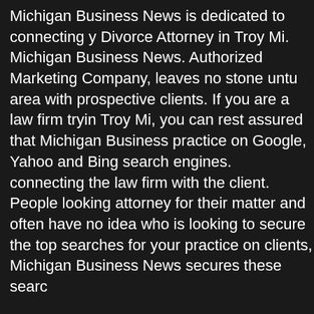Michigan Business News is dedicated to connecting y Divorce Attorney in Troy Mi. Michigan Business News. Authorized Marketing Company, leaves no stone untu area with prospective clients. If you are a law firm tryin Troy Mi, you can rest assured that Michigan Business practice on Google, Yahoo and Bing search engines. connecting the law firm with the client. People looking attorney for their matter and often have no idea who is looking to secure the top searches for your practice on clients, Michigan Business News secures these searc
Your firm deserves the top searches based on produc News Marketing Associates, we have the unique abilit Michigan Business News has an authorized Google m needs. If you require additional searches, contact us this guarantee. We will deliver a top page Google res commitment to our customers to deliver the top results
We currently own and operate the top-ranked searche searches your clients make every day, such as: “Divor online - Internet Billboards” for your client’s Google se